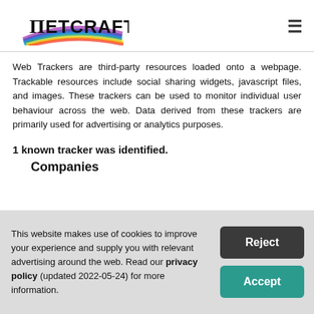Netcraft
Web Trackers are third-party resources loaded onto a webpage. Trackable resources include social sharing widgets, javascript files, and images. These trackers can be used to monitor individual user behaviour across the web. Data derived from these trackers are primarily used for advertising or analytics purposes.
1 known tracker was identified.
Companies
This website makes use of cookies to improve your experience and supply you with relevant advertising around the web. Read our privacy policy (updated 2022-05-24) for more information.